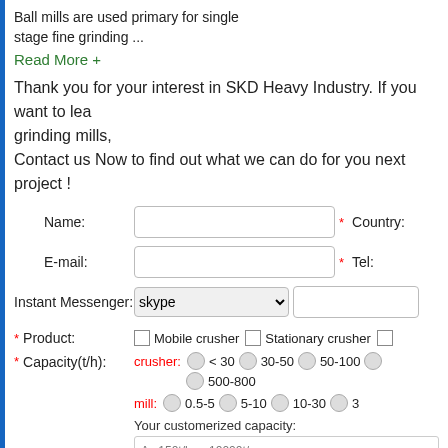Ball mills are used primary for single stage fine grinding ...
Read More +
Thank you for your interest in SKD Heavy Industry. If you want to lea grinding mills,
Contact us Now to find out what we can do for you next project !
[Figure (other): Web contact form with fields for Name, Country, E-mail, Tel, Instant Messenger (skype dropdown), Product checkboxes (Mobile crusher, Stationary crusher), Capacity radio buttons for crusher (< 30, 30-50, 50-100, 500-800) and mill (0.5-5, 5-10, 10-30), and a customized capacity text input.]